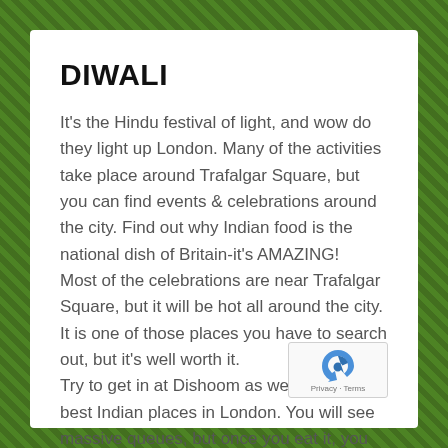DIWALI
It's the Hindu festival of light, and wow do they light up London. Many of the activities take place around Trafalgar Square, but you can find events & celebrations around the city. Find out why Indian food is the national dish of Britain-it's AMAZING!
Most of the celebrations are near Trafalgar Square, but it will be hot all around the city. It is one of those places you have to search out, but it's well worth it.
Try to get in at Dishoom as well. One of the best Indian places in London. You will see massive queues, but once you eat it, you will see why.